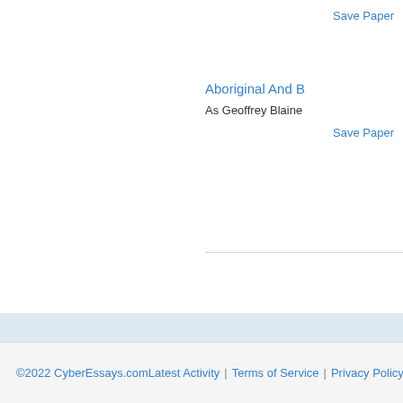Save Paper
Aboriginal And B
As Geoffrey Blaine
Save Paper
[Figure (screenshot): Search input box containing the text 'early adulthood' on a light blue background]
©2022 CyberEssays.com | Latest Activity | Terms of Service | Privacy Policy